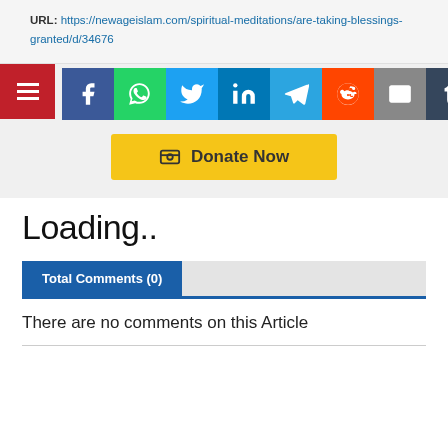URL: https://newageislam.com/spiritual-meditations/are-taking-blessings-granted/d/34676
[Figure (screenshot): Social media share buttons: Facebook, WhatsApp, Twitter, LinkedIn, Telegram, Reddit, Email, Tumblr, with a hamburger menu icon on the left]
[Figure (other): Yellow 'Donate Now' button with a payment icon]
Loading..
Total Comments (0)
There are no comments on this Article